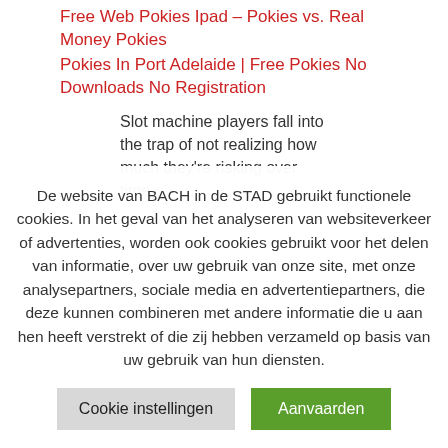Free Web Pokies Ipad – Pokies vs. Real Money Pokies
Pokies In Port Adelaide | Free Pokies No Downloads No Registration
Slot machine players fall into the trap of not realizing how much they're risking over time
De website van BACH in de STAD gebruikt functionele cookies. In het geval van het analyseren van websiteverkeer of advertenties, worden ook cookies gebruikt voor het delen van informatie, over uw gebruik van onze site, met onze analysepartners, sociale media en advertentiepartners, die deze kunnen combineren met andere informatie die u aan hen heeft verstrekt of die zij hebben verzameld op basis van uw gebruik van hun diensten.
Cookie instellingen
Aanvaarden